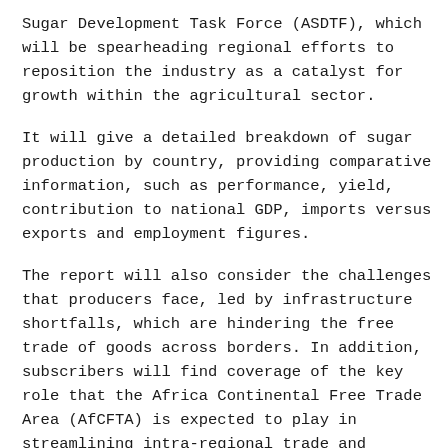Sugar Development Task Force (ASDTF), which will be spearheading regional efforts to reposition the industry as a catalyst for growth within the agricultural sector.
It will give a detailed breakdown of sugar production by country, providing comparative information, such as performance, yield, contribution to national GDP, imports versus exports and employment figures.
The report will also consider the challenges that producers face, led by infrastructure shortfalls, which are hindering the free trade of goods across borders. In addition, subscribers will find coverage of the key role that the Africa Continental Free Trade Area (AfCFTA) is expected to play in streamlining intra-regional trade and encouraging best practices.
Commenting at the partnership signing, José Orive, Executive